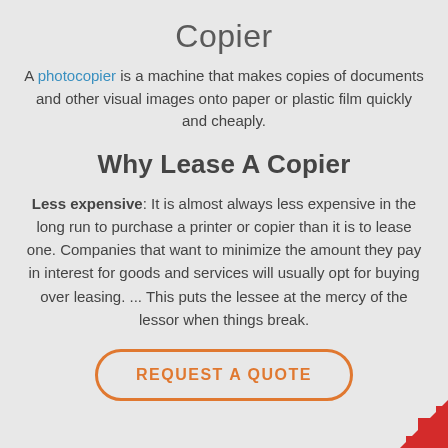Copier
A photocopier is a machine that makes copies of documents and other visual images onto paper or plastic film quickly and cheaply.
Why Lease A Copier
Less expensive: It is almost always less expensive in the long run to purchase a printer or copier than it is to lease one. Companies that want to minimize the amount they pay in interest for goods and services will usually opt for buying over leasing. ... This puts the lessee at the mercy of the lessor when things break.
REQUEST A QUOTE
[Figure (logo): Red geometric corner logo in bottom-right]